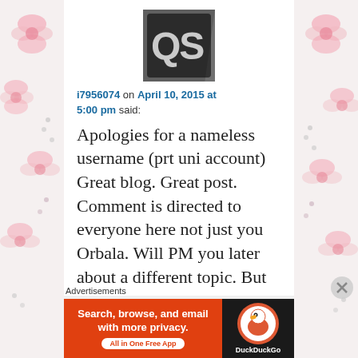[Figure (photo): User avatar thumbnail showing letters QS on dark background]
i7956074 on April 10, 2015 at 5:00 pm said:
Apologies for a nameless username (prt uni account) Great blog. Great post. Comment is directed to everyone here not just you Orbala. Will PM you later about a different topic. But
Advertisements
[Figure (screenshot): DuckDuckGo advertisement banner: Search, browse, and email with more privacy. All in One Free App. DuckDuckGo logo on dark background.]